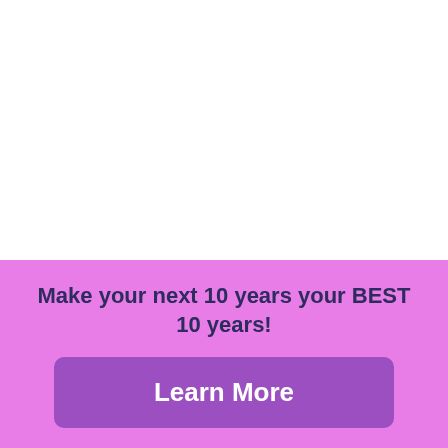Make your next 10 years your BEST 10 years!
Learn More